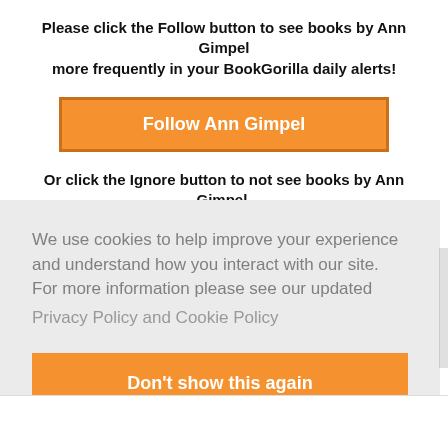Please click the Follow button to see books by Ann Gimpel more frequently in your BookGorilla daily alerts!
[Figure (other): Orange button labeled 'Follow Ann Gimpel']
Or click the Ignore button to not see books by Ann Gimpel.
[Figure (other): Partially visible orange Ignore button]
We use cookies to help improve your experience and understand how you interact with our site. For more information please see our updated
Privacy Policy and Cookie Policy
[Figure (other): Orange button labeled 'Don't show this again']